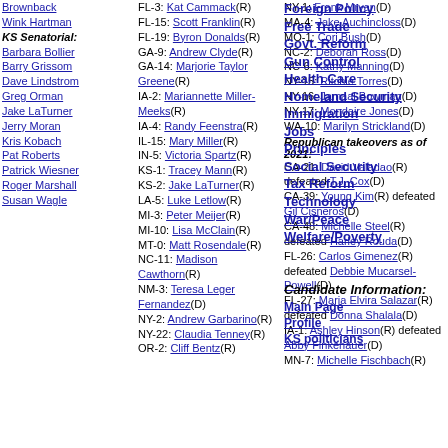Brownback
Wink Hartman
KS Senatorial:
Barbara Bollier
Barry Grissom
Dave Lindstrom
Greg Orman
Jake LaTurner
Jerry Moran
Kris Kobach
Pat Roberts
Patrick Wiesner
Roger Marshall
Susan Wagle
FL-3: Kat Cammack(R)
FL-15: Scott Franklin(R)
FL-19: Byron Donalds(R)
GA-9: Andrew Clyde(R)
GA-14: Marjorie Taylor Greene(R)
IA-2: Mariannette Miller-Meeks(R)
IA-4: Randy Feenstra(R)
IL-15: Mary Miller(R)
IN-5: Victoria Spartz(R)
KS-1: Tracey Mann(R)
KS-2: Jake LaTurner(R)
LA-5: Luke Letlow(R)
MI-3: Peter Meijer(R)
MI-10: Lisa McClain(R)
MT-0: Matt Rosendale(R)
NC-11: Madison Cawthorn(R)
NM-3: Teresa Leger Fernandez(D)
NY-2: Andrew Garbarino(R)
NY-22: Claudia Tenney(R)
OR-2: Cliff Bentz(R)
NY-1: Frank Mrvan(D)
MA-4: Jake Auchincloss(D)
MO-1: Cori Bush(D)
NC-2: Deborah Ross(D)
NC-6: Kathy Manning(D)
NY-15: Ritchie Torres(D)
NY-16: Jamaal Bowman(D)
NY-17: Mondaire Jones(D)
WA-10: Marilyn Strickland(D)
Republican takeovers as of 2021:
CA-21: David Valadao(R) defeated T.J. Cox(D)
CA-39: Young Kim(R) defeated Gil Cisneros(D)
CA-48: Michelle Steel(R) defeated Harley Rouda(D)
FL-26: Carlos Gimenez(R) defeated Debbie Mucarsel-Powell(D)
FL-27: Maria Elvira Salazar(R) defeated Donna Shalala(D)
IA-1: Ashley Hinson(R) defeated Abby Finkenauer(D)
MN-7: Michelle Fischbach(R) defeated Collin Peterson(D)
Foreign Policy
Free Trade
Govt. Reform
Gun Control
Health Care
Homeland Security
Immigration
Jobs
Principles
Social Security
Tax Reform
Technology
War/Peace
Welfare/Poverty
Candidate Information:
Main Page
Profile
KS politicians